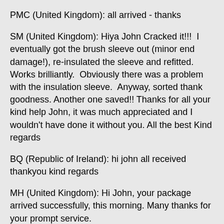PMC (United Kingdom): all arrived - thanks
SM (United Kingdom): Hiya John Cracked it!!!  I eventually got the brush sleeve out (minor end damage!), re-insulated the sleeve and refitted. Works brilliantly.  Obviously there was a problem with the insulation sleeve.  Anyway, sorted thank goodness. Another one saved!! Thanks for all your kind help John, it was much appreciated and I wouldn't have done it without you. All the best Kind regards
BQ (Republic of Ireland): hi john all received thankyou kind regards
MH (United Kingdom): Hi John, your package arrived successfully, this morning. Many thanks for your prompt service.
GB (United Kingdom): Hi All items recieved ok and now fitted thanks.
PH (United Kingdom): Hi John Thanks for your last delivery for the Bristol Castle which arrived last